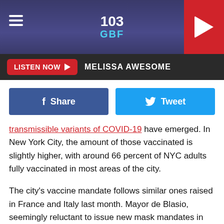[Figure (screenshot): 103 GBF radio station header with logo, hamburger menu, and red play button]
LISTEN NOW ▶  MELISSA AWESOME
[Figure (infographic): Facebook Share and Twitter Tweet buttons]
transmissible variants of COVID-19 have emerged. In New York City, the amount of those vaccinated is slightly higher, with around 66 percent of NYC adults fully vaccinated in most areas of the city.
The city's vaccine mandate follows similar ones raised in France and Italy last month. Mayor de Blasio, seemingly reluctant to issue new mask mandates in NYC, still presumably anticipates the virus to make a renewed attack as many return to in-person work.
Broadway theaters already instituted vaccine requirements